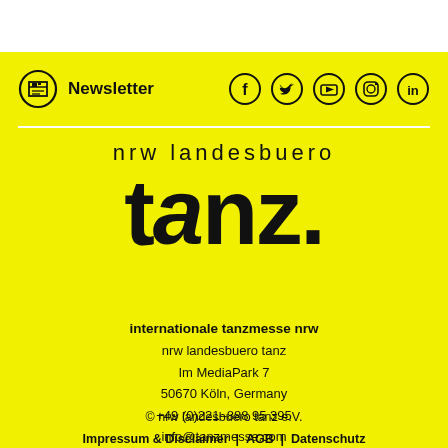Newsletter
[Figure (logo): nrw landesbuero tanz logo on yellow background with large stylized tanz. wordmark]
internationale tanzmesse nrw
nrw landesbuero tanz
Im MediaPark 7
50670 Köln, Germany
+49 (0)221-888 95 395
info@tanzmesse.com
© nrw landesbuero tanz e.V.
Impressum & Disclaimer | AGB | Datenschutz